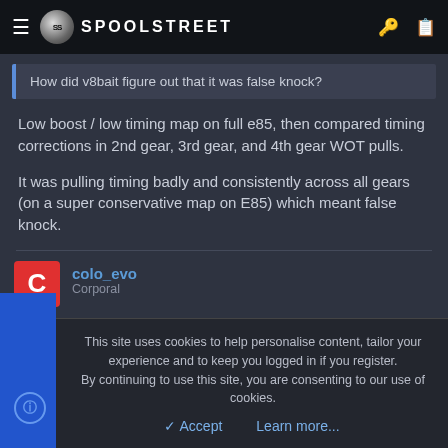SPOOLSTREET
How did v8bait figure out that it was false knock?
Low boost / low timing map on full e85, then compared timing corrections in 2nd gear, 3rd gear, and 4th gear WOT pulls.

It was pulling timing badly and consistently across all gears (on a super conservative map on E85) which meant false knock.
colo_evo
Corporal
This site uses cookies to help personalise content, tailor your experience and to keep you logged in if you register.
By continuing to use this site, you are consenting to our use of cookies.